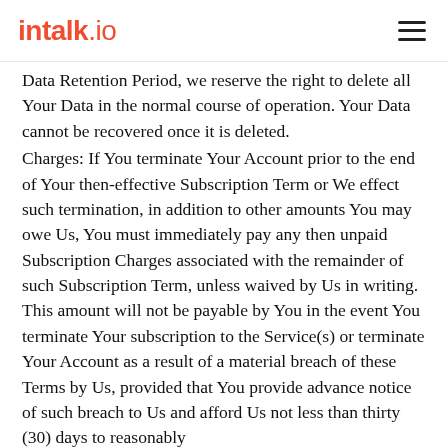intalk.io
Data Retention Period, we reserve the right to delete all Your Data in the normal course of operation. Your Data cannot be recovered once it is deleted.
Charges: If You terminate Your Account prior to the end of Your then-effective Subscription Term or We effect such termination, in addition to other amounts You may owe Us, You must immediately pay any then unpaid Subscription Charges associated with the remainder of such Subscription Term, unless waived by Us in writing. This amount will not be payable by You in the event You terminate Your subscription to the Service(s) or terminate Your Account as a result of a material breach of these Terms by Us, provided that You provide advance notice of such breach to Us and afford Us not less than thirty (30) days to reasonably